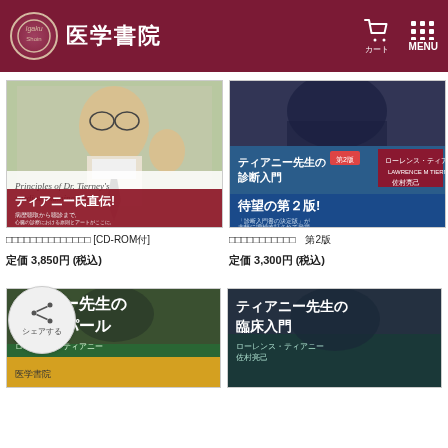医学書院
[Figure (photo): Book cover: Principles of Dr. Tierney's cardiac examination - ティアニー氏直伝! CD-ROM付]
[Figure (photo): Book cover: ティアニー先生の診断入門 第2版 - 待望の第２版!]
ティアニー氏直伝！心臓聴診のポイントを伝えるCD-ROMが [CD-ROM付]
ティアニー先生の診断入門　第2版
定価 3,850円 (税込)
定価 3,300円 (税込)
[Figure (photo): Book cover: ティアニー先生のベスト・パール (bottom left, partially visible)]
[Figure (photo): Book cover: ティアニー先生の臨床入門 (bottom right)]